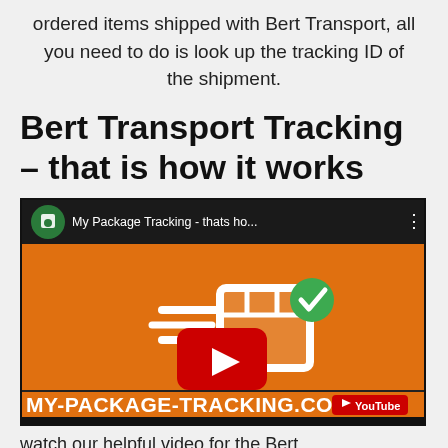ordered items shipped with Bert Transport, all you need to do is look up the tracking ID of the shipment.
Bert Transport Tracking – that is how it works
[Figure (screenshot): YouTube video thumbnail for 'My Package Tracking - thats ho...' on an orange background with a white package icon and green checkmark, red YouTube play button, and MY-PACKAGE-TRACKING.COM text at the bottom]
watch our helpful video for the Bert